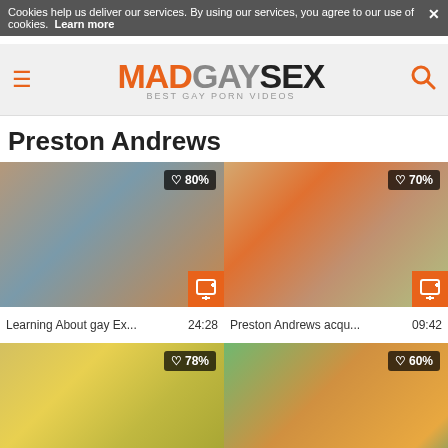Cookies help us deliver our services. By using our services, you agree to our use of cookies. Learn more
MADGAYSEX - BEST GAY PORN VIDEOS
Preston Andrews
[Figure (screenshot): Video thumbnail 1 - Learning About gay Ex... 24:28, 80% likes]
[Figure (screenshot): Video thumbnail 2 - Preston Andrews acqu... 09:42, 70% likes]
[Figure (screenshot): Video thumbnail 3 - 78% likes]
[Figure (screenshot): Video thumbnail 4 - 60% likes]